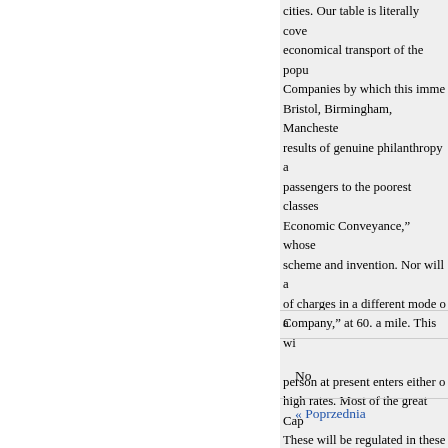cities. Our table is literally covered economical transport of the populace. Companies by which this imme Bristol, Birmingham, Manchester results of genuine philanthropy a passengers to the poorest classes Economic Conveyance,” whose scheme and invention. Nor will a of charges in a different mode of Company," at 60. a mile. This wi person at present enters either of high rates. Most of the great Cap These will be regulated in these e protected by the effectual indicat will be protected by a similar pro should be on a par with the Cont and, in fact, to all members of a e income.
a
No
« Poprzednia